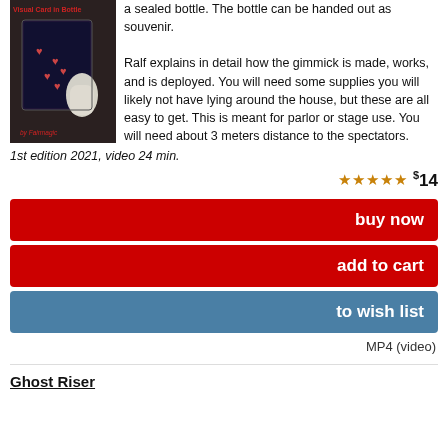[Figure (photo): Product image: Visual Card in Bottle magic trick DVD cover showing a hand holding a playing card near a bottle, by Fairmagic]
a sealed bottle. The bottle can be handed out as souvenir.

Ralf explains in detail how the gimmick is made, works, and is deployed. You will need some supplies you will likely not have lying around the house, but these are all easy to get. This is meant for parlor or stage use. You will need about 3 meters distance to the spectators.
1st edition 2021, video 24 min.
★★★★★ $14
buy now
add to cart
to wish list
MP4 (video)
Ghost Riser